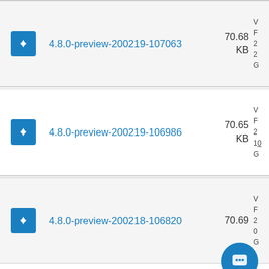4.8.0-preview-200219-107063 70.68 KB
4.8.0-preview-200219-106986 70.65 KB
4.8.0-preview-200218-106820 70.69 KB